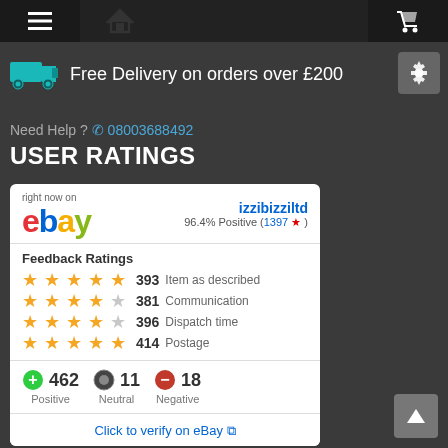Navigation bar with menu, home, and cart icons
Free Delivery on orders over £200
Need Help ? 08003688492
USER RATINGS
[Figure (other): eBay seller ratings widget showing izzibizziltd with 96.4% Positive (1397 ratings), Feedback Ratings with stars for Item as described (393), Communication (381), Dispatch time (396), Postage (414), and summary counts: Positive 462, Neutral 11, Negative 18, with a Click to verify on eBay link.]